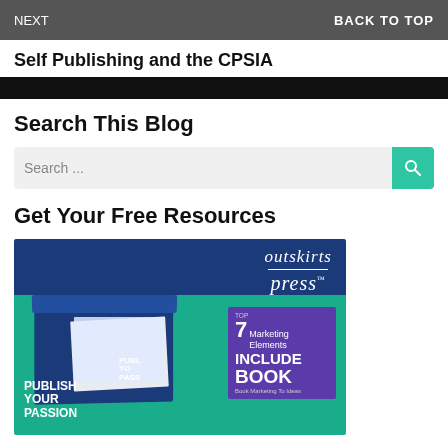NEXT   BACK TO TOP
Self Publishing and the CPSIA
Search This Blog
Search ...
Get Your Free Resources
[Figure (illustration): Outskirts Press promotional image showing a publishing kit box with books and materials. Text reads: PUBLISH YOUR PASSION, TOP 7 Marketing Elements INCLUDE BOOK. Outskirts Press logo in top right.]